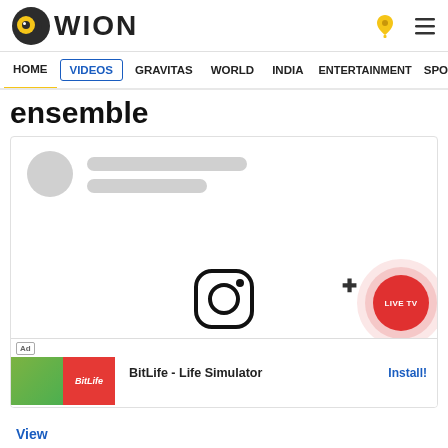[Figure (logo): WION logo with circular black/yellow icon and WION text]
HOME  VIDEOS  GRAVITAS  WORLD  INDIA  ENTERTAINMENT  SPORTS
ensemble
[Figure (screenshot): Content card showing skeleton loader placeholder with circle and lines, Instagram icon at bottom, LIVE TV floating button, and BitLife advertisement banner at bottom]
BitLife - Life Simulator
View
Install!